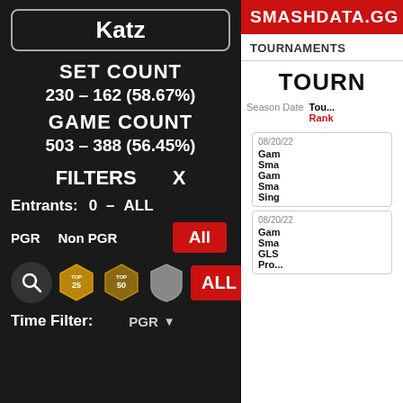Katz
SET COUNT
230 - 162 (58.67%)
GAME COUNT
503 - 388 (56.45%)
FILTERS  X
Entrants:  0  -  ALL
PGR  Non PGR  All
[Figure (screenshot): Row of ranking badge icons: search icon circle, TOP 25 badge, TOP 50 badge, grey shield badge, ALL red button]
Time Filter:  PGR
SMASHDATA.GG
TOURNAMENTS
TOURN
Tournament  Season Date  Rank
08/20/22  Gam  Sma  Gam  Sma  Sing
08/20/22  Gam  Sma  GLS  Pro